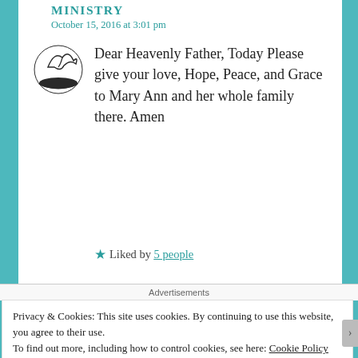MINISTRY
October 15, 2016 at 3:01 pm
Dear Heavenly Father, Today Please give your love, Hope, Peace, and Grace to Mary Ann and her whole family there. Amen
★ Liked by 5 people
Advertisements
Privacy & Cookies: This site uses cookies. By continuing to use this website, you agree to their use.
To find out more, including how to control cookies, see here: Cookie Policy
Close and accept